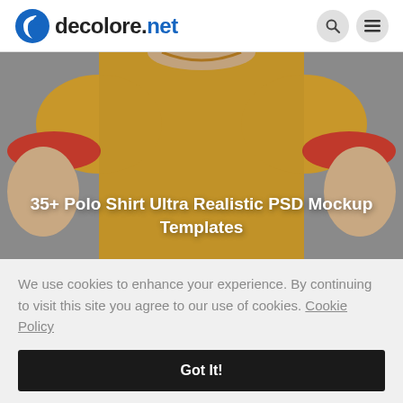decolore.net
[Figure (photo): Man wearing a yellow/golden polo shirt with red sleeve cuffs, photographed from neck to waist against a grey background, with text overlay '35+ Polo Shirt Ultra Realistic PSD Mockup Templates']
35+ Polo Shirt Ultra Realistic PSD Mockup Templates
We use cookies to enhance your experience. By continuing to visit this site you agree to our use of cookies. Cookie Policy
Got It!